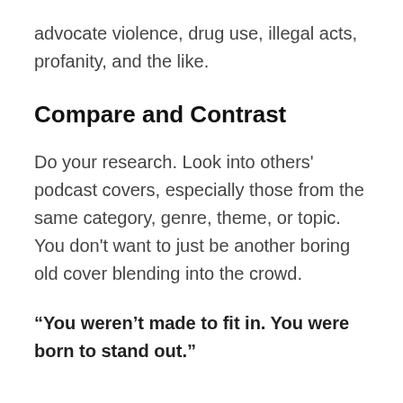advocate violence, drug use, illegal acts, profanity, and the like.
Compare and Contrast
Do your research. Look into others' podcast covers, especially those from the same category, genre, theme, or topic. You don't want to just be another boring old cover blending into the crowd.
“You weren’t made to fit in. You were born to stand out.”